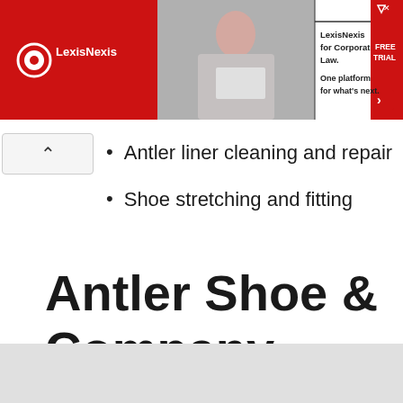[Figure (other): LexisNexis advertisement banner for Corporate Law platform. Red background with logo, photo of woman at laptop, text: LexisNexis for Corporate Law. One platform for what's next. FREE TRIAL button.]
Antler liner cleaning and repair
Shoe stretching and fitting
Antler Shoe & Company History